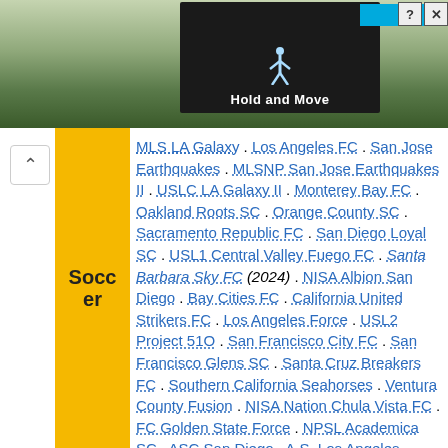[Figure (screenshot): Advertisement banner showing a dark game/app ad with 'Hold and Move' text, a blue score bar, human figure icon, and close/help buttons in top right corner. Background shows trees.]
MLS LA Galaxy . Los Angeles FC . San Jose Earthquakes . MLSNP San Jose Earthquakes II . USLC LA Galaxy II . Monterey Bay FC . Oakland Roots SC . Orange County SC . Sacramento Republic FC . San Diego Loyal SC . USL1 Central Valley Fuego FC . Santa Barbara Sky FC (2024) . NISA Albion San Diego . Bay Cities FC . California United Strikers FC . Los Angeles Force . USL2 Project 51O . San Francisco City FC . San Francisco Glens SC . Santa Cruz Breakers FC . Southern California Seahorses . Ventura County Fusion . NISA Nation Chula Vista FC . FC Golden State Force . NPSL Academica SC . ASC San Diego . A.S. Los Angeles . Contra Costa FC . FC Davis . El Farolito SC . High Desert Elite FC . Napa Valley 1839 FC . Sacramento Gold FC . Sonoma County Sol . Temecula FC . UPSL Santa